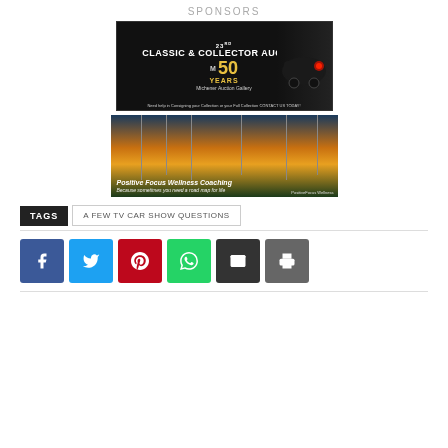SPONSORS
[Figure (photo): Classic & Collector Auction advertisement banner - 23rd anniversary, Michener 50 Years, dark background with classic car]
[Figure (photo): Positive Focus Wellness Coaching advertisement - sunset/dusk scene with lamp posts on a road]
TAGS  A FEW TV CAR SHOW QUESTIONS
[Figure (infographic): Social sharing buttons row: Facebook (blue), Twitter (light blue), Pinterest (red), WhatsApp (green), Email (dark), Print (gray)]